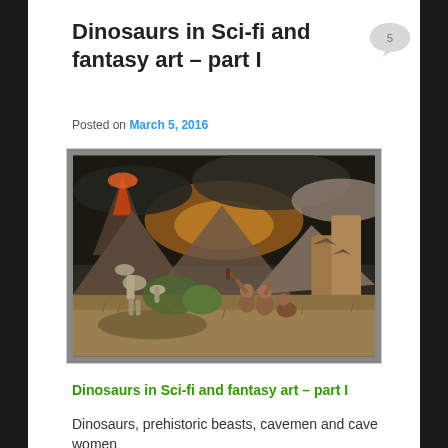Dinosaurs in Sci-fi and fantasy art – part I
Posted on March 5, 2016
[Figure (illustration): Fantasy painting showing cavemen with clubs confronting dinosaurs in a prehistoric landscape with volcanic mountains and dark stormy sky]
Dinosaurs in Sci-fi and fantasy art – part I
Dinosaurs, prehistoric beasts, cavemen and cave women